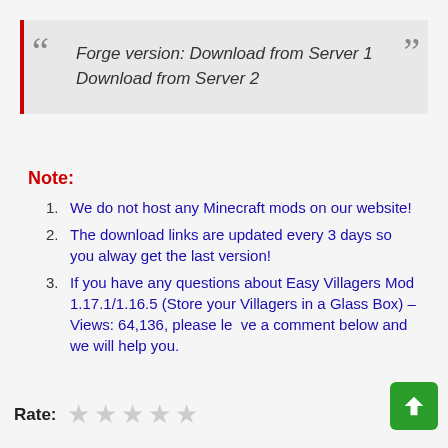Forge version: Download from Server 1 Download from Server 2
Note:
We do not host any Minecraft mods on our website!
The download links are updated every 3 days so you alway get the last version!
If you have any questions about Easy Villagers Mod 1.17.1/1.16.5 (Store your Villagers in a Glass Box) – Views: 64,136, please leave a comment below and we will help you.
Rate: